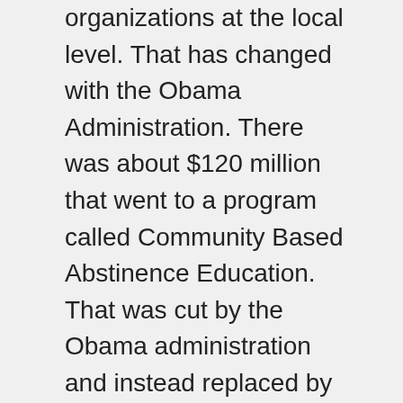organizations at the local level. That has changed with the Obama Administration. There was about $120 million that went to a program called Community Based Abstinence Education. That was cut by the Obama administration and instead replaced by funding for comprehensive sex education.
Now the new funding under the Obama Administration is not all that we would want it to be. It's still a little bit narrow in its scope, in terms of its very specifically focused on teen pregnancy prevention. However,